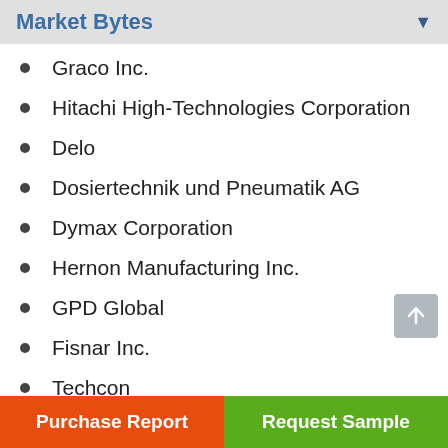Market Bytes
Graco Inc.
Hitachi High-Technologies Corporation
Delo
Dosiertechnik und Pneumatik AG
Dymax Corporation
Hernon Manufacturing Inc.
GPD Global
Fisnar Inc.
Techcon
Valco Melton
Automation Alternatives, Inc.
Purchase Report | Request Sample